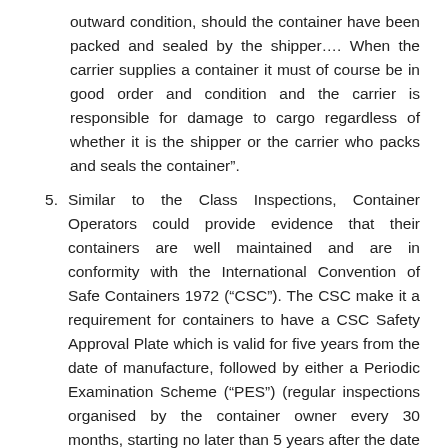outward condition, should the container have been packed and sealed by the shipper…. When the carrier supplies a container it must of course be in good order and condition and the carrier is responsible for damage to cargo regardless of whether it is the shipper or the carrier who packs and seals the container".
5. Similar to the Class Inspections, Container Operators could provide evidence that their containers are well maintained and are in conformity with the International Convention of Safe Containers 1972 (“CSC”). The CSC make it a requirement for containers to have a CSC Safety Approval Plate which is valid for five years from the date of manufacture, followed by either a Periodic Examination Scheme (“PES”) (regular inspections organised by the container owner every 30 months, starting no later than 5 years after the date of manufacture) or an Approved Continuous Examination Program (ACEP). Both PES and ACEP require that the container be marked with the dates of the inspection. Although the CSC was introduced for the safety of persons working around them, we believe that evidence provided by appropriate inspections would amount